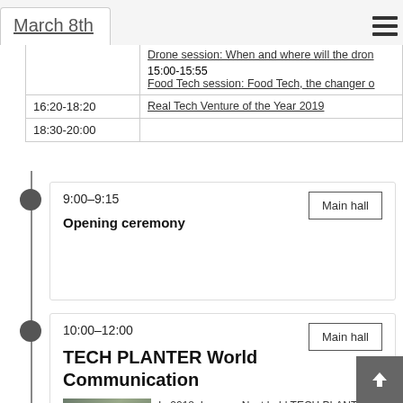March 8th
| Time | Session |
| --- | --- |
|  | Drone session: When and where will the dron...  15:00-15:55  Food Tech session: Food Tech, the changer o... |
| 16:20-18:20 | Real Tech Venture of the Year 2019 |
| 18:30-20:00 |  |
9:00–9:15
Main hall
Opening ceremony
10:00–12:00
Main hall
TECH PLANTER World Communication
[Figure (photo): Group photo of people at a TECH PLANTER event]
In 2018, Leave a Nest held TECH PLANTER in 8 countries and 9 regions, including North America, Europe, and...